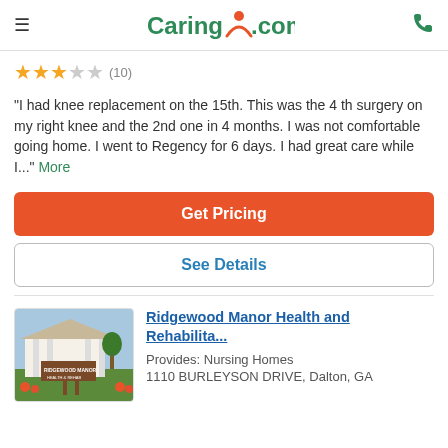Caring.com
★★★☆☆ (10)
"I had knee replacement on the 15th. This was the 4 th surgery on my right knee and the 2nd one in 4 months. I was not comfortable going home. I went to Regency for 6 days. I had great care while I..." More
Get Pricing
See Details
Ridgewood Manor Health and Rehabilita...
Provides: Nursing Homes
1110 BURLEYSON DRIVE, Dalton, GA
[Figure (photo): Exterior photo of Ridgewood Manor building with sign and flowers]